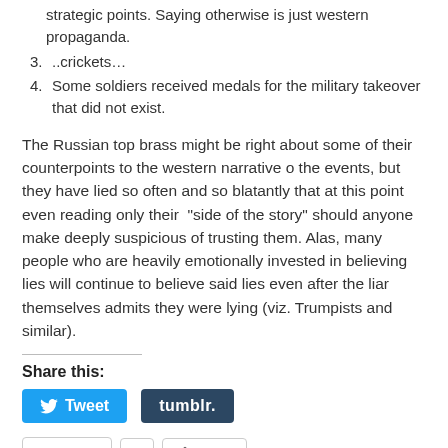strategic points. Saying otherwise is just western propaganda.
..crickets…
Some soldiers received medals for the military takeover that did not exist.
The Russian top brass might be right about some of their counterpoints to the western narrative o the events, but they have lied so often and so blatantly that at this point even reading only their “side of the story” should anyone make deeply suspicious of trusting them. Alas, many people who are heavily emotionally invested in believing lies will continue to believe said lies even after the liar themselves admits they were lying (viz. Trumpists and similar).
Share this:
[Figure (other): Tweet button (Twitter/X blue) and Tumblr button (dark navy)]
[Figure (other): Pocket button, count badge showing 0, and More share button]
Like this:
Loading...